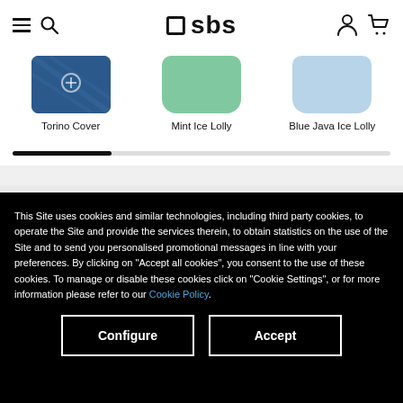SBS (logo) — navigation header with hamburger menu, search, account, and cart icons
[Figure (photo): Product thumbnail: Torino Cover — dark blue patterned phone case]
Torino Cover
[Figure (photo): Product thumbnail: Mint Ice Lolly — mint green phone case]
Mint Ice Lolly
[Figure (photo): Product thumbnail: Blue Java Ice Lolly — light blue phone case]
Blue Java Ice Lolly
This Site uses cookies and similar technologies, including third party cookies, to operate the Site and provide the services therein, to obtain statistics on the use of the Site and to send you personalised promotional messages in line with your preferences. By clicking on "Accept all cookies", you consent to the use of these cookies. To manage or disable these cookies click on "Cookie Settings", or for more information please refer to our Cookie Policy.
Configure
Accept